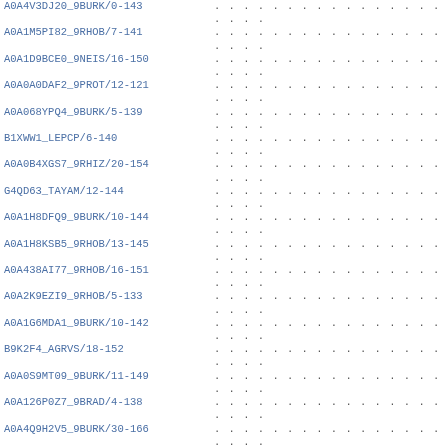A0A4V3DJ20_9BURK/0-143
A0A1M5PI82_9RHOB/7-141
A0A1D9BCE0_9NEIS/16-150
A0A0A0DAF2_9PROT/12-121
A0A068YPQ4_9BURK/5-139
B1XWW1_LEPCP/6-140
A0A0B4XGS7_9RHIZ/20-154
G4QD63_TAYAM/12-144
A0A1H8DFQ9_9BURK/10-144
A0A1H8KSB5_9RHOB/13-145
A0A438AI77_9RHOB/16-151
A0A2K9EZI9_9RHOB/5-133
A0A1G6MDA1_9BURK/10-142
B9K2F4_AGRVS/18-152
A0A0S9MT09_9BURK/11-149
A0A126P0Z7_9BRAD/4-138
A0A4Q9H2V5_9BURK/30-166
S3N2S8_9GAMM/6-130
D8MMQ5_ERWBE/8-144
W1NA14_9GAMM/3-137
A0A5E4NTH6_9RHIZ/14-148
A0A553H545_9PSED/20-151
A0A2T5PAF0_9PSED/5-139
A0A0X1SWH8_PSEAA/5-139
A0A1V3NEP4_9GAMM/23-158
A0A2U1WUP1_9PROT/7-139
A0A2V1GY67_9GAMM/7-142
A0A023D7C8_ACIMT/6-134
F4GWM3_PUSST/14-147
A0A318BCG7_9NOSO/10-134
A0A1B2QZP1_9BORD/17-151
A0A365UCZ7_9RHOB/5-139
A0A257LJX4_9BURK/8-144